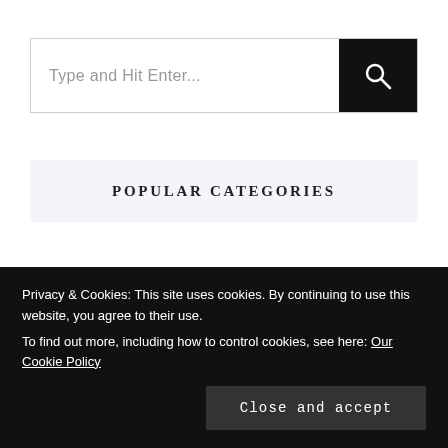[Figure (screenshot): Search bar with text 'Type and Hit Enter...' and a black search button with magnifying glass icon]
POPULAR CATEGORIES
[Figure (photo): Category card: AIRLINE PAXEX - 209 POST(S), dark interior background]
[Figure (photo): Category card: LOUNGING AROUND - 17 POST(S), warm lit interior background]
Privacy & Cookies: This site uses cookies. By continuing to use this website, you agree to their use.
To find out more, including how to control cookies, see here: Our Cookie Policy
Close and accept